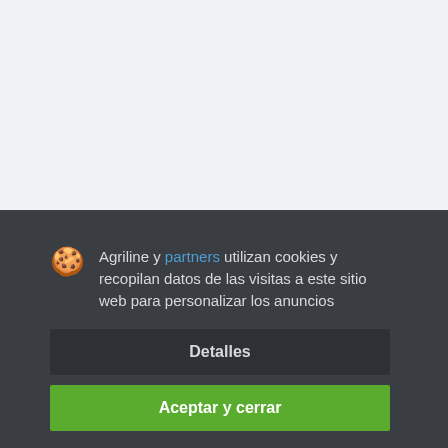[Figure (screenshot): Top half of a webpage with a light gray background, partially obscured by a cookie consent overlay]
Agriline y partners utilizan cookies y recopilan datos de las visitas a este sitio web para personalizar los anuncios
Detalles
Aceptar y cerrar
Compañía
Ayuda